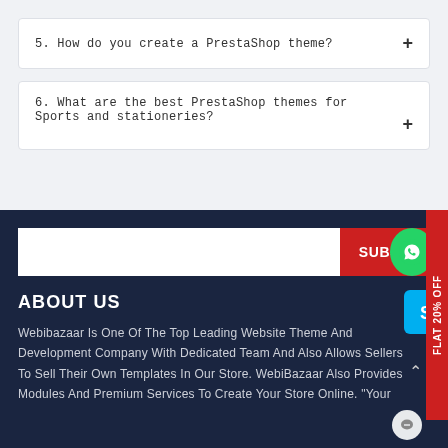5. How do you create a PrestaShop theme?
6. What are the best PrestaShop themes for Sports and stationeries?
ABOUT US
Webibazaar Is One Of The Top Leading Website Theme And Development Company With Dedicated Team And Also Allows Sellers To Sell Their Own Templates In Our Store. WebiBazaar Also Provides Modules And Premium Services To Create Your Store Online. "Your